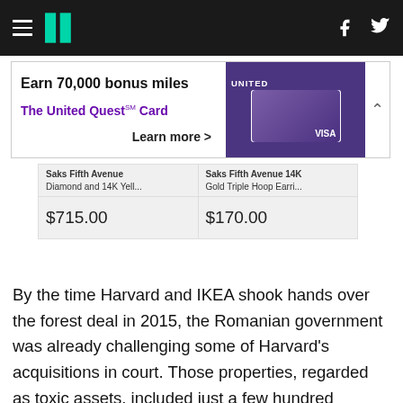HuffPost navigation header with hamburger menu, logo, Facebook and Twitter icons
[Figure (screenshot): Advertisement banner: Earn 70,000 bonus miles, The United Quest Card, Learn more >, with United Quest Card image on purple background with VISA logo]
[Figure (screenshot): Product panel showing two Saks Fifth Avenue jewelry items: 'Saks Fifth Avenue Diamond and 14K Yell...' priced at $715.00 and 'Saks Fifth Avenue 14K Gold Triple Hoop Earri...' priced at $170.00]
By the time Harvard and IKEA shook hands over the forest deal in 2015, the Romanian government was already challenging some of Harvard’s acquisitions in court. Those properties, regarded as toxic assets, included just a few hundred hectares of their overall purchases, and were not included in the deal with IKEA.